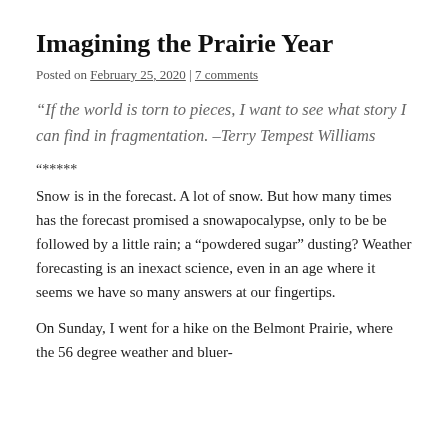Imagining the Prairie Year
Posted on February 25, 2020 | 7 comments
“If the world is torn to pieces, I want to see what story I can find in fragmentation. –Terry Tempest Williams
“*****
Snow is in the forecast. A lot of snow. But how many times has the forecast promised a snowapocalypse, only to be be followed by a little rain; a “powdered sugar” dusting? Weather forecasting is an inexact science, even in an age where it seems we have so many answers at our fingertips.
On Sunday, I went for a hike on the Belmont Prairie, where the 56 degree weather and bluer-